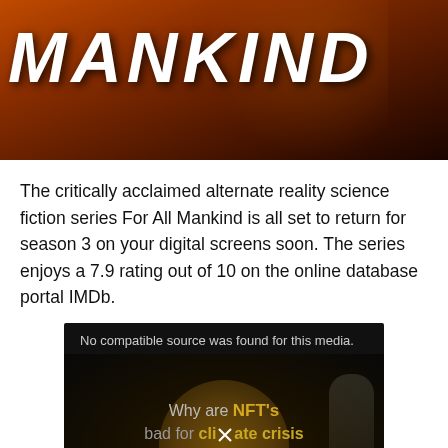[Figure (photo): Banner image showing the text MANKIND in large white bold italic letters on a dark orange/brown background, styled as a TV show title card for 'For All Mankind'.]
The critically acclaimed alternate reality science fiction series For All Mankind is all set to return for season 3 on your digital screens soon. The series enjoys a 7.9 rating out of 10 on the online database portal IMDb.
[Figure (screenshot): A dark video player embed showing the message 'No compatible source was found for this media.' overlaid on a dark background with a golden coin graphic and text reading: Why are NFT's bad for climate crisis and what is a solution to this problem, with an X overlaid on the word 'climate'.]